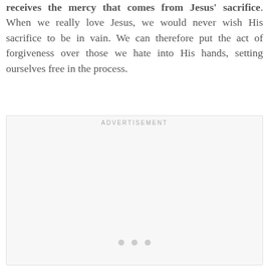realize that we don't get to decide who receives the mercy that comes from Jesus' sacrifice. When we really love Jesus, we would never wish His sacrifice to be in vain. We can therefore put the act of forgiveness over those we hate into His hands, setting ourselves free in the process.
[Figure (other): Advertisement placeholder box with 'ADVERTISEMENT' label at top and three gray dots near bottom center]